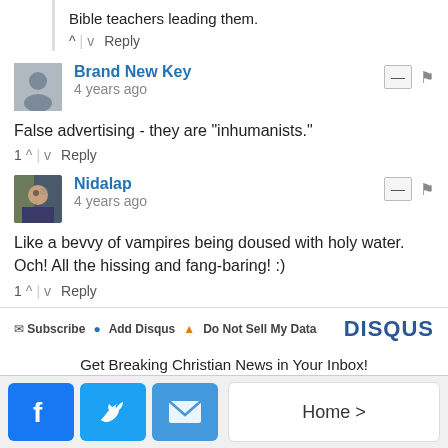Bible teachers leading them.
1 ↑ | ↓ Reply
Brand New Key
4 years ago
False advertising - they are "inhumanists."
1 ↑ | ↓ Reply
Nidalap
4 years ago
Like a bevvy of vampires being doused with holy water. Och! All the hissing and fang-baring! :)
1 ↑ | ↓ Reply
Subscribe  Add Disqus  Do Not Sell My Data   DISQUS
Get Breaking Christian News in Your Inbox!
Enter Email  Sign up
Home >